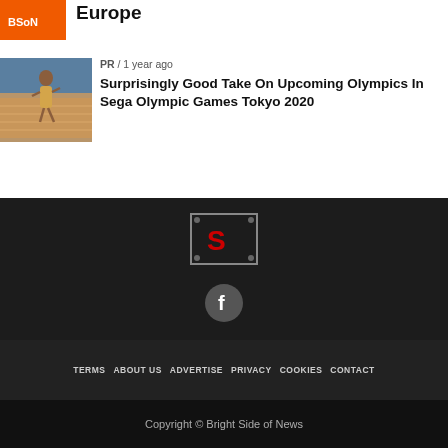[Figure (photo): Orange colored box / logo placeholder at top left]
Europe
PR / 1 year ago
[Figure (photo): Photo of an athlete running on a track at a stadium]
Surprisingly Good Take On Upcoming Olympics In Sega Olympic Games Tokyo 2020
[Figure (logo): Bright Side of News logo - letter S in red on dark background with border]
[Figure (logo): Facebook icon - white f on gray circle]
TERMS
ABOUT US
ADVERTISE
PRIVACY
COOKIES
CONTACT
Copyright © Bright Side of News